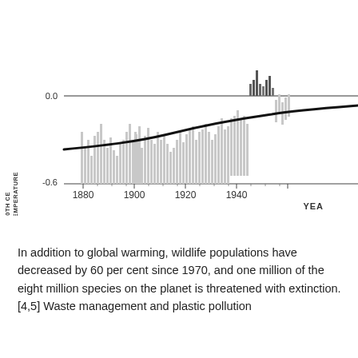[Figure (continuous-plot): Bar chart with trend line showing global temperature anomaly (difference from 20th century average) from 1880 to approximately 1955. Bars are light gray for negative anomalies and dark gray for positive anomalies near 1940s. A bold black trend line shows gradual warming from about -0.5 in 1880 rising toward 0 by the mid-20th century. Y-axis shows 0.0 and -0.6. X-axis shows years 1880, 1900, 1920, 1940.]
In addition to global warming, wildlife populations have decreased by 60 per cent since 1970, and one million of the eight million species on the planet is threatened with extinction. [4,5] Waste management and plastic pollution